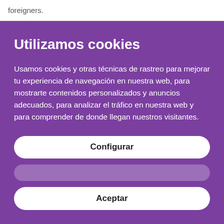foreigners.
Utilizamos cookies
Usamos cookies y otras técnicas de rastreo para mejorar tu experiencia de navegación en nuestra web, para mostrarte contenidos personalizados y anuncios adecuados, para analizar el tráfico en nuestra web y para comprender de donde llegan nuestros visitantes.
Configurar
Aceptar